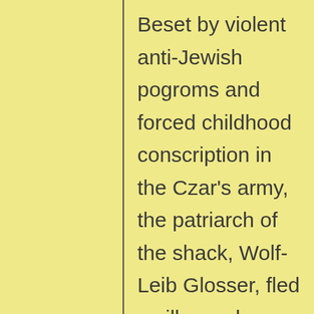Beset by violent anti-Jewish pogroms and forced childhood conscription in the Czar's army, the patriarch of the shack, Wolf-Leib Glosser, fled a village where his